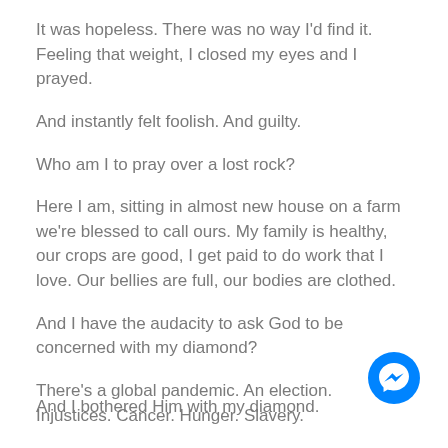It was hopeless. There was no way I'd find it. Feeling that weight, I closed my eyes and I prayed.
And instantly felt foolish. And guilty.
Who am I to pray over a lost rock?
Here I am, sitting in almost new house on a farm we're blessed to call ours. My family is healthy, our crops are good, I get paid to do work that I love. Our bellies are full, our bodies are clothed.
And I have the audacity to ask God to be concerned with my diamond?
There's a global pandemic. An election. Injustices. Cancer. Hunger. Slavery.
[Figure (illustration): Facebook Messenger app icon — blue circle with white lightning bolt chat bubble logo]
And I bothered Him with my diamond.